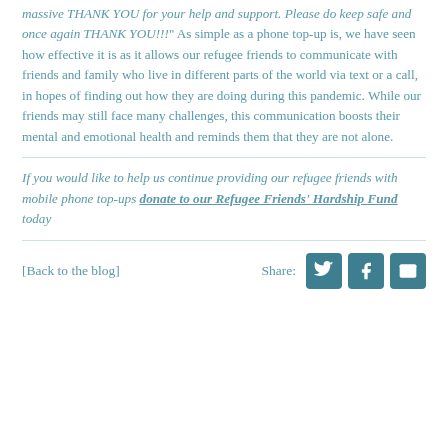massive THANK YOU for your help and support. Please do keep safe and once again THANK YOU!!!" As simple as a phone top-up is, we have seen how effective it is as it allows our refugee friends to communicate with friends and family who live in different parts of the world via text or a call, in hopes of finding out how they are doing during this pandemic. While our friends may still face many challenges, this communication boosts their mental and emotional health and reminds them that they are not alone.
If you would like to help us continue providing our refugee friends with mobile phone top-ups donate to our Refugee Friends' Hardship Fund today
[Back to the blog]
Share: